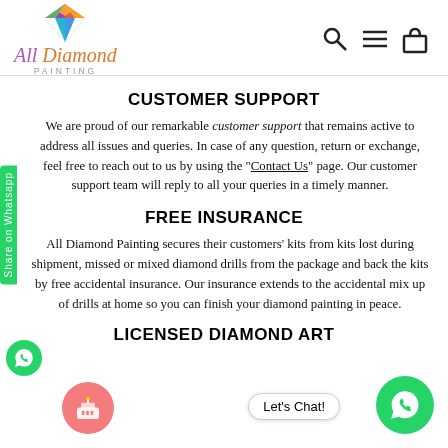[Figure (logo): All Diamond Painting logo with colorful diamond icon and stylized text]
[Figure (infographic): Navigation icons: search (magnifier), hamburger menu, shopping bag]
CUSTOMER SUPPORT
We are proud of our remarkable customer support that remains active to address all issues and queries. In case of any question, return or exchange, feel free to reach out to us by using the "Contact Us" page. Our customer support team will reply to all your queries in a timely manner.
FREE INSURANCE
All Diamond Painting secures their customers' kits from kits lost during shipment, missed or mixed diamond drills from the package and back the kits by free accidental insurance. Our insurance extends to the accidental mix up of drills at home so you can finish your diamond painting in peace.
LICENSED DIAMOND ART